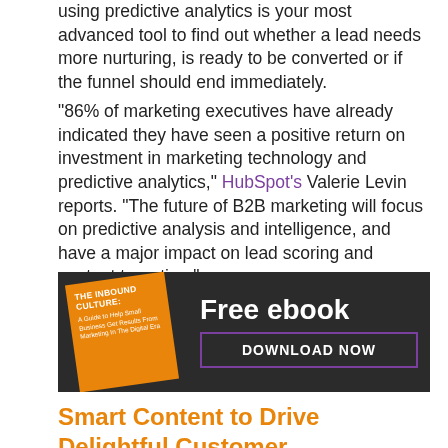using predictive analytics is your most advanced tool to find out whether a lead needs more nurturing, is ready to be converted or if the funnel should end immediately.
“86% of marketing executives have already indicated they have seen a positive return on investment in marketing technology and predictive analytics,” HubSpot’s Valerie Levin reports. “The future of B2B marketing will focus on predictive analysis and intelligence, and have a major impact on lead scoring and content targeting.”
[Figure (infographic): Advertisement banner with dark background. Left side shows an orange tilted book cover labeled 'THE INBOUND CULTURE: A Guide to Help Small Business Get Results From Marketing In The Digital Era'. Right side shows white text 'Free ebook' and a purple-bordered button 'DOWNLOAD NOW'.]
Smart Content to Drive Delightful Customer Experiences
Smart content...